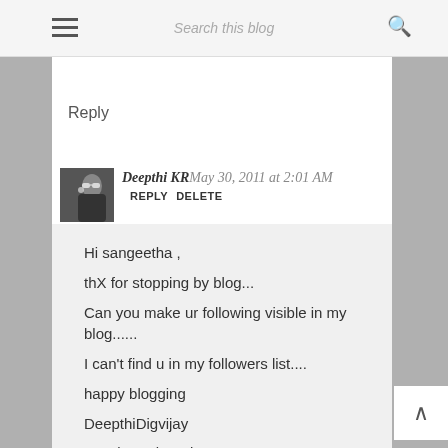Search this blog
OMG, this looks to tempting..... :) Feel like nibbling through it....
Reply
Deepthi KR May 30, 2011 at 2:01 AM REPLY DELETE
Hi sangeetha ,
thX for stopping by blog...
Can you make ur following visible in my blog......
I can't find u in my followers list....
happy blogging
DeepthiDigvijay
Good Food Recipes
Coffe With Me Deepthi